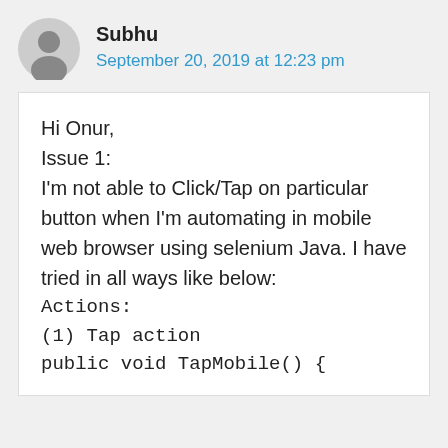Subhu
September 20, 2019 at 12:23 pm
Hi Onur,
Issue 1:
I'm not able to Click/Tap on particular button when I'm automating in mobile web browser using selenium Java. I have tried in all ways like below:
Actions:
(1) Tap action
public void TapMobile() {